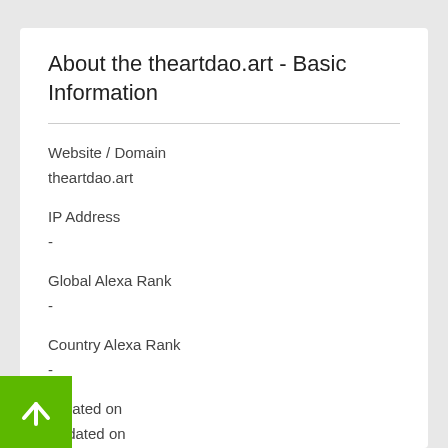About the theartdao.art - Basic Information
Website / Domain
theartdao.art
IP Address
-
Global Alexa Rank
-
Country Alexa Rank
-
Created on
Updated on
-